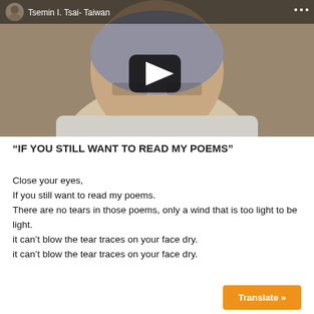[Figure (screenshot): Video thumbnail showing a middle-aged Asian man with gray hair and glasses, with a YouTube-style play button overlay. The video header shows 'Tsemin I. Tsai- Taiwan' with a circular avatar and three-dot menu icon.]
“IF YOU STILL WANT TO READ MY POEMS”
Close your eyes,
If you still want to read my poems.
There are no tears in those poems, only a wind that is too light to be light.
it can’t blow the tear traces on your face dry.
it can’t blow the tear traces on your face dry.
Translate »